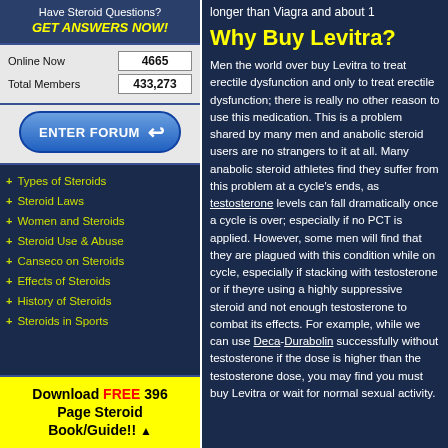Have Steroid Questions? GET ANSWERS NOW!
| Online Now | 4665 |
| Total Members | 433,273 |
[Figure (other): ENTER FORUM button with arrow]
+ Types of Steroids
+ Steroid Laws
+ Women and Steroids
+ Steroid Use & Abuse
+ Canseco on Steroids
+ Effects of Steroids
+ History of Steroids
+ Steroids in Sports
Download FREE 396 Page Steroid Book/Guide!! ▲
longer than Viagra and about 1
Why Buy Levitra?
Men the world over buy Levitra to treat erectile dysfunction and only to treat erectile dysfunction; there is really no other reason to use this medication. This is a problem shared by many men and anabolic steroid users are no strangers to it at all. Many anabolic steroid athletes find they suffer from this problem at a cycle's ends, as testosterone levels can fall dramatically once a cycle is over; especially if no PCT is applied. However, some men will find they are plagued with this condition while on cycle, especially if stacking with testosterone or if theyre using a highly suppressive steroid and not enough testosterone to combat its effects. For example, while we can use Deca-Durabolin successfully without testosterone if the dose is higher than the testosterone dose, you may find you must buy Levitra or wait for normal sexual activity.